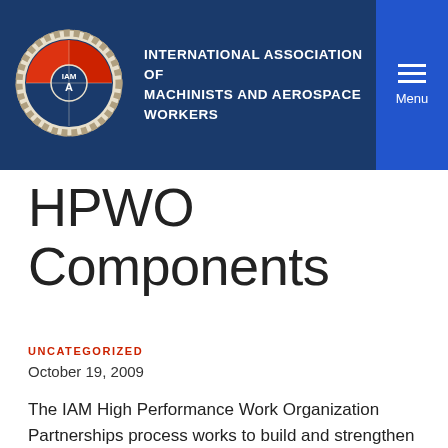INTERNATIONAL ASSOCIATION OF MACHINISTS AND AEROSPACE WORKERS
HPWO Components
UNCATEGORIZED
October 19, 2009
The IAM High Performance Work Organization Partnerships process works to build and strengthen both the IAM and the companies where our members work. Labor and management representatives use ten key components to guide